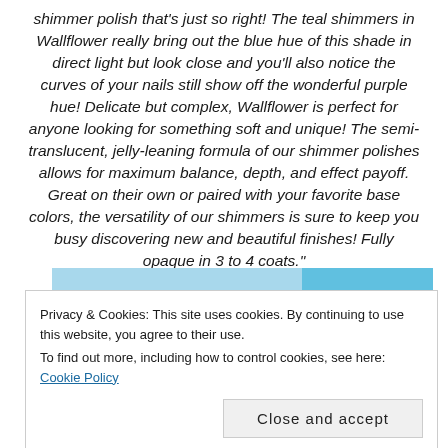shimmer polish that's just so right! The teal shimmers in Wallflower really bring out the blue hue of this shade in direct light but look close and you'll also notice the curves of your nails still show off the wonderful purple hue! Delicate but complex, Wallflower is perfect for anyone looking for something soft and unique! The semi-translucent, jelly-leaning formula of our shimmer polishes allows for maximum balance, depth, and effect payoff. Great on their own or paired with your favorite base colors, the versatility of our shimmers is sure to keep you busy discovering new and beautiful finishes! Fully opaque in 3 to 4 coats."
[Figure (photo): Photo strip showing nail polish bottles, partially obscured by cookie consent banner. Top portion shows light blue/cyan background, bottom portion shows pink/magenta nail polish bottles.]
Privacy & Cookies: This site uses cookies. By continuing to use this website, you agree to their use.
To find out more, including how to control cookies, see here: Cookie Policy
Close and accept